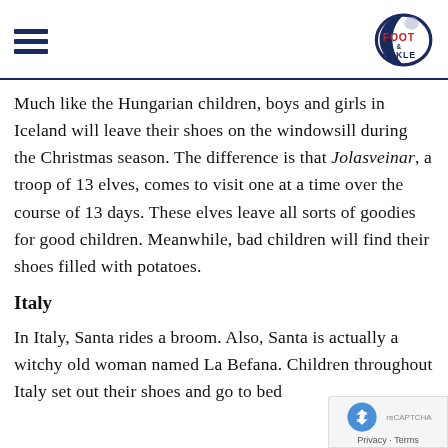[hamburger menu icon] [Foot & Ankle logo]
Much like the Hungarian children, boys and girls in Iceland will leave their shoes on the windowsill during the Christmas season. The difference is that Jolasveinar, a troop of 13 elves, comes to visit one at a time over the course of 13 days. These elves leave all sorts of goodies for good children. Meanwhile, bad children will find their shoes filled with potatoes.
Italy
In Italy, Santa rides a broom. Also, Santa is actually a witchy old woman named La Befana. Children throughout Italy set out their shoes and go to bed...